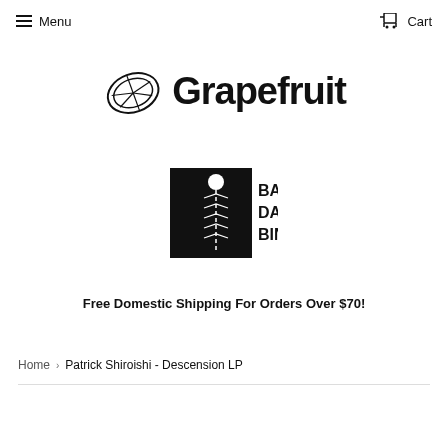Menu  Cart
[Figure (logo): Grapefruit music store logo: a grapefruit slice icon followed by the bold text 'Grapefruit']
[Figure (logo): Bada Bing Records logo: black square with zipper graphic and text 'BA DA BING']
Free Domestic Shipping For Orders Over $70!
Home › Patrick Shiroishi - Descension LP